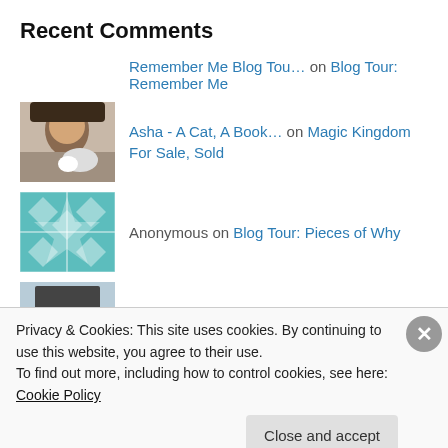Recent Comments
Remember Me Blog Tou… on Blog Tour: Remember Me
Asha - A Cat, A Book… on Magic Kingdom For Sale, Sold
Anonymous on Blog Tour: Pieces of Why
Dan O. on It (2017)
Daphne DuMariner. on It (2017)
Privacy & Cookies: This site uses cookies. By continuing to use this website, you agree to their use. To find out more, including how to control cookies, see here: Cookie Policy
Close and accept